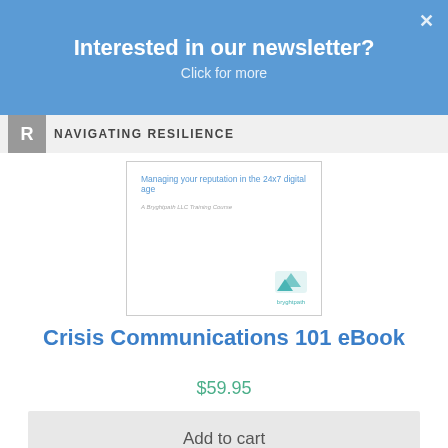Interested in our newsletter?
Click for more
NAVIGATING RESILIENCE
[Figure (illustration): Book cover showing 'Managing your reputation in the 24x7 digital age' subtitle and 'A Bryghtpath LLC Training Course' text with the Bryghtpath logo]
Crisis Communications 101 eBook
$59.95
Add to cart
[Figure (photo): Partial photo visible at the bottom of the page showing a person near a window]